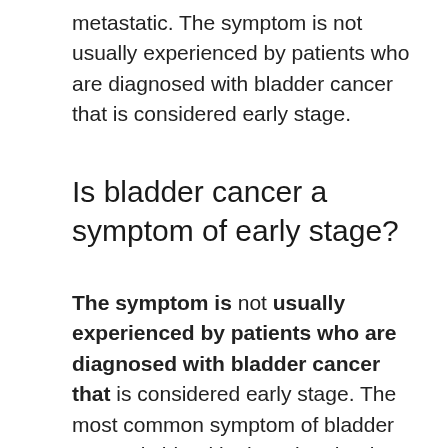metastatic. The symptom is not usually experienced by patients who are diagnosed with bladder cancer that is considered early stage.
Is bladder cancer a symptom of early stage?
The symptom is not usually experienced by patients who are diagnosed with bladder cancer that is considered early stage. The most common symptom of bladder cancer is blood in the urine that is visible to the eye, which is experienced by around 80%